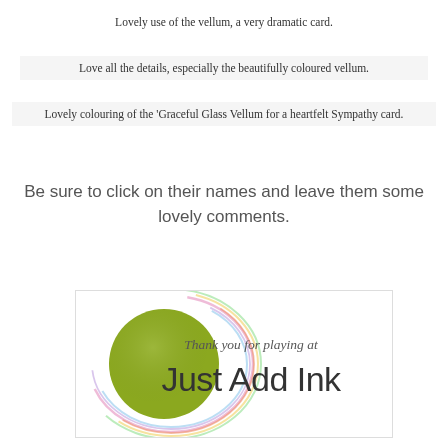Lovely use of the vellum, a very dramatic card.
Love all the details, especially the beautifully coloured vellum.
Lovely colouring of the 'Graceful Glass Vellum for a heartfelt Sympathy card.
Be sure to click on their names and leave them some lovely comments.
[Figure (logo): Just Add Ink logo with green circle, rainbow swirls, and text 'Thank you for playing at Just Add Ink']